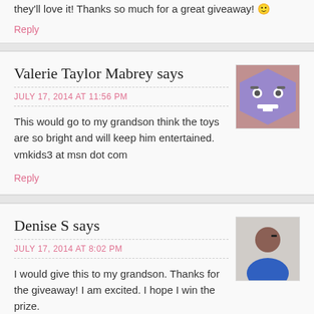they'll love it! Thanks so much for a great giveaway! 🙂
Reply
Valerie Taylor Mabrey says
JULY 17, 2014 AT 11:56 PM
This would go to my grandson think the toys are so bright and will keep him entertained. vmkids3 at msn dot com
Reply
Denise S says
JULY 17, 2014 AT 8:02 PM
I would give this to my grandson. Thanks for the giveaway! I am excited. I hope I win the prize.